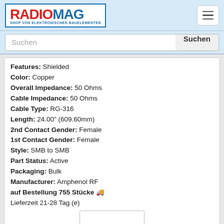RADIOMAG – SHOP VON ELEKTRONISCHEN BAUELEMENTEN
Features: Shielded
Color: Copper
Overall Impedance: 50 Ohms
Cable Impedance: 50 Ohms
Cable Type: RG-316
Length: 24.00" (609.60mm)
2nd Contact Gender: Female
1st Contact Gender: Female
Style: SMB to SMB
Part Status: Active
Packaging: Bulk
Manufacturer: Amphenol RF
auf Bestellung 755 Stücke
Lieferzeit 21-28 Tag (e)
135101-R2-06.00
135101-R2-06.00
Hersteller: Amphenol RF
Description: CBL ASSY SMA PLUG-PLUG .141 6"